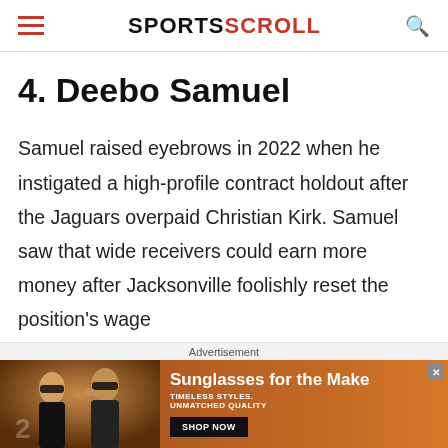SPORTSCROLL
4. Deebo Samuel
Samuel raised eyebrows in 2022 when he instigated a high-profile contract holdout after the Jaguars overpaid Christian Kirk. Samuel saw that wide receivers could earn more money after Jacksonville foolishly reset the position's wage
[Figure (photo): Advertisement banner for sunglasses: two women wearing sunglasses on an orange/brown background, text reads 'Sunglasses for the Make' with 'TIMELESS STYLES. UNMATCHED QUALITY' and a 'SHOP NOW' button]